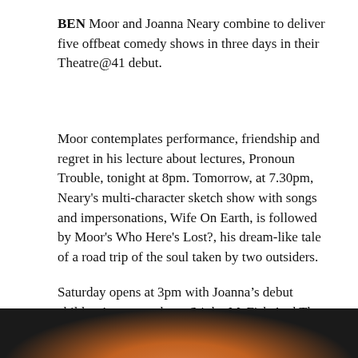BEN Moor and Joanna Neary combine to deliver five offbeat comedy shows in three days in their Theatre@41 debut.
Moor contemplates performance, friendship and regret in his lecture about lectures, Pronoun Trouble, tonight at 8pm. Tomorrow, at 7.30pm, Neary's multi-character sketch show with songs and impersonations, Wife On Earth, is followed by Moor's Who Here's Lost?, his dream-like tale of a road trip of the soul taken by two outsiders.
Saturday opens at 3pm with Joanna's debut children's puppet show, Stinky McFish And The World's Worst Wish, and concludes at 7pm with the two-hander BookTalkBookTalkBook, a “silly author event parody show”. Box office: tickets.41monkgate.co.uk.
[Figure (photo): Partial photo visible at bottom of page showing a figure against a dark background with warm orange/amber tones]